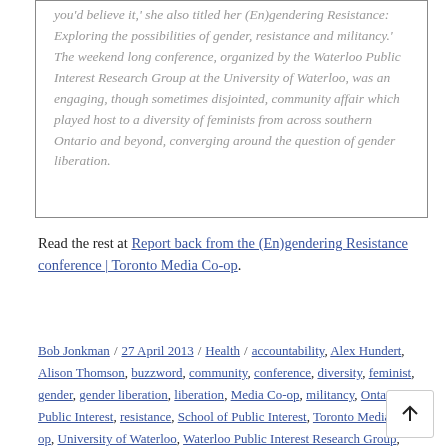you'd believe it,' she also titled her (En)gendering Resistance: Exploring the possibilities of gender, resistance and militancy.' The weekend long conference, organized by the Waterloo Public Interest Research Group at the University of Waterloo, was an engaging, though sometimes disjointed, community affair which played host to a diversity of feminists from across southern Ontario and beyond, converging around the question of gender liberation.
Read the rest at Report back from the (En)gendering Resistance conference | Toronto Media Co-op.
Bob Jonkman / 27 April 2013 / Health / accountability, Alex Hundert, Alison Thomson, buzzword, community, conference, diversity, feminist, gender, gender liberation, liberation, Media Co-op, militancy, Ontario, Public Interest, resistance, School of Public Interest, Toronto Media Co-op, University of Waterloo, Waterloo Public Interest Research Group, WPIRG